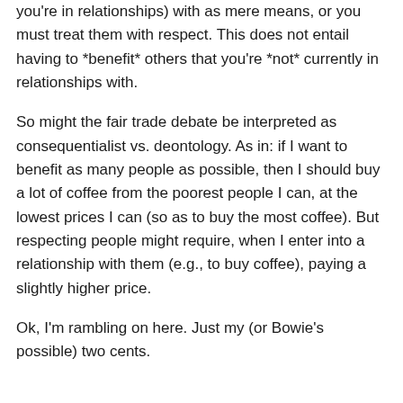you're in relationships) with as mere means, or you must treat them with respect. This does not entail having to *benefit* others that you're *not* currently in relationships with.
So might the fair trade debate be interpreted as consequentialist vs. deontology. As in: if I want to benefit as many people as possible, then I should buy a lot of coffee from the poorest people I can, at the lowest prices I can (so as to buy the most coffee). But respecting people might require, when I enter into a relationship with them (e.g., to buy coffee), paying a slightly higher price.
Ok, I'm rambling on here. Just my (or Bowie's possible) two cents.